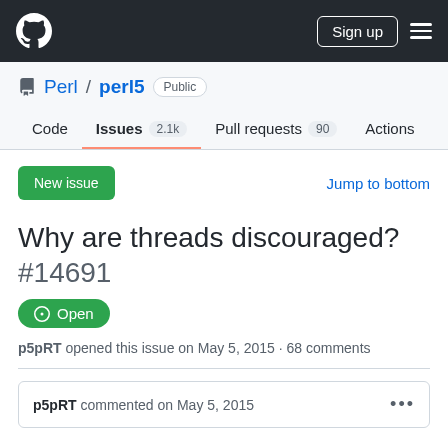GitHub navigation: Sign up
Perl / perl5 Public
Code | Issues 2.1k | Pull requests 90 | Actions | Proje
New issue   Jump to bottom
Why are threads discouraged?
#14691
Open
p5pRT opened this issue on May 5, 2015 · 68 comments
p5pRT commented on May 5, 2015 ...